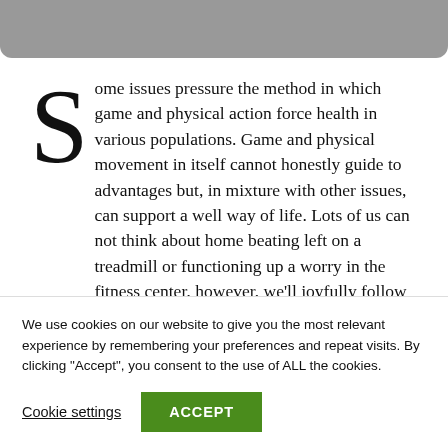[Figure (other): Gray rounded bar at top of page]
Some issues pressure the method in which game and physical action force health in various populations. Game and physical movement in itself cannot honestly guide to advantages but, in mixture with other issues, can support a well way of life. Lots of us can not think about home beating left on a treadmill or functioning up a worry in the fitness center, however, we'll joyfully follow a ball around
We use cookies on our website to give you the most relevant experience by remembering your preferences and repeat visits. By clicking “Accept”, you consent to the use of ALL the cookies.
Cookie settings
ACCEPT